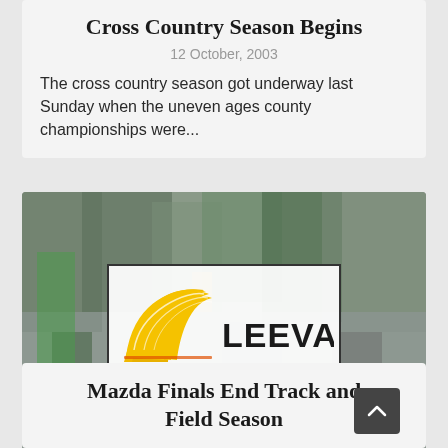Cross Country Season Begins
12 October, 2003
The cross country season got underway last Sunday when the uneven ages county championships were...
[Figure (logo): Leevale athletics club logo — golden wing/swoosh shape on left, bold black text 'LEEVALE' on right, overlaid on a blurred crowd photo background]
Mazda Finals End Track and Field Season